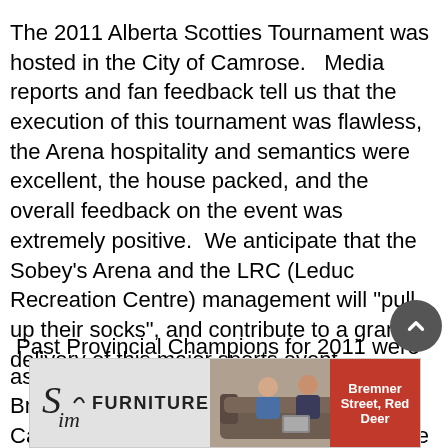The 2011 Alberta Scotties Tournament was hosted in the City of Camrose.   Media reports and fan feedback tell us that the execution of this tournament was flawless, the Arena hospitality and semantics were excellent, the house packed, and the overall feedback on the event was extremely positive.  We anticipate that the Sobey's Arena and the LRC (Leduc Recreation Centre) management will "pull up their socks", and contribute to a grand delivery of this major sports event.
Past Provincial Champions for 2011 were as follows: Shannon Kleibrink, Amy Nixon, Bronwen Webster, Chelsey Bell, of the Calgary Winter Club.  And for 2010, Valerie
[Figure (infographic): Sims Furniture advertisement banner with logo on left, people sitting on sofa in center, and red box with 'Bremner Street, Red Deer' on right]